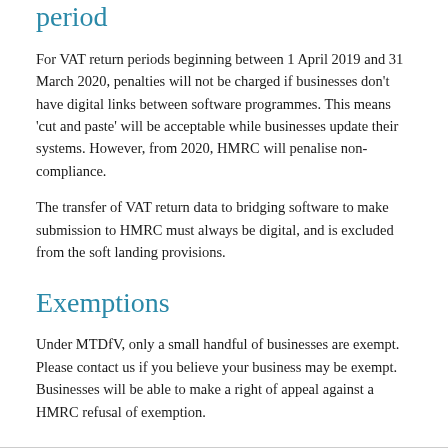period
For VAT return periods beginning between 1 April 2019 and 31 March 2020, penalties will not be charged if businesses don't have digital links between software programmes. This means 'cut and paste' will be acceptable while businesses update their systems. However, from 2020, HMRC will penalise non-compliance.
The transfer of VAT return data to bridging software to make submission to HMRC must always be digital, and is excluded from the soft landing provisions.
Exemptions
Under MTDfV, only a small handful of businesses are exempt. Please contact us if you believe your business may be exempt. Businesses will be able to make a right of appeal against a HMRC refusal of exemption.